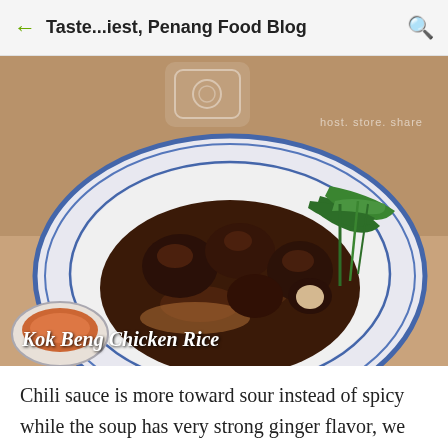Taste...iest, Penang Food Blog
[Figure (photo): Close-up food photo of Kok Beng Chicken Rice: dark braised chicken pieces with glossy sauce on a blue-and-white porcelain plate, garnished with green vegetables, with a small dipping sauce bowl visible at lower left. Watermark reads 'host. store. share'. Caption overlay reads 'Kok Beng Chicken Rice']
Chili sauce is more toward sour instead of spicy while the soup has very strong ginger flavor, we